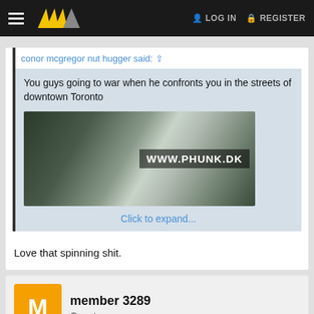LOG IN  REGISTER
conor mcgregor nut hugger said:
You guys going to war when he confronts you in the streets of downtown Toronto
[Figure (screenshot): Image with www.phunk.dk watermark on a blurred background]
Click to expand...
Love that spinning shit.
member 3289
Guest
May 14, 2022
#2,049